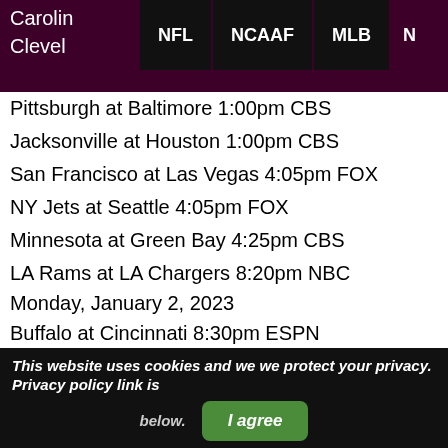Carolina | Cleveland | NFL | NCAAF | MLB
Pittsburgh at Baltimore 1:00pm CBS
Jacksonville at Houston 1:00pm CBS
San Francisco at Las Vegas 4:05pm FOX
NY Jets at Seattle 4:05pm FOX
Minnesota at Green Bay 4:25pm CBS
LA Rams at LA Chargers 8:20pm NBC
Monday, January 2, 2023
Buffalo at Cincinnati 8:30pm ESPN
WEEK 18 NFL TV SCHEDULE
Sunday, January 8, 2023
Tampa Bay at Atlanta – –
New England at Buffalo – –
Minnesota at Chicago – –
Baltimore at Cincinnati – –
This website uses cookies and we we protect your privacy. Privacy policy link is below. I agree